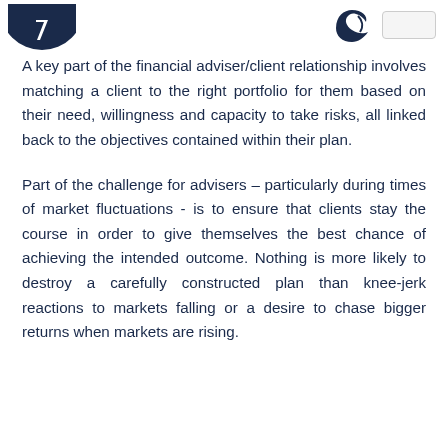[Figure (logo): Dark navy circular logo icon (partially visible, cropped) on left side of header]
[Figure (logo): Dark navy leaf/abstract logo icon on right side of header, with a light rectangular placeholder beside it]
A key part of the financial adviser/client relationship involves matching a client to the right portfolio for them based on their need, willingness and capacity to take risks, all linked back to the objectives contained within their plan.
Part of the challenge for advisers – particularly during times of market fluctuations - is to ensure that clients stay the course in order to give themselves the best chance of achieving the intended outcome. Nothing is more likely to destroy a carefully constructed plan than knee-jerk reactions to markets falling or a desire to chase bigger returns when markets are rising.